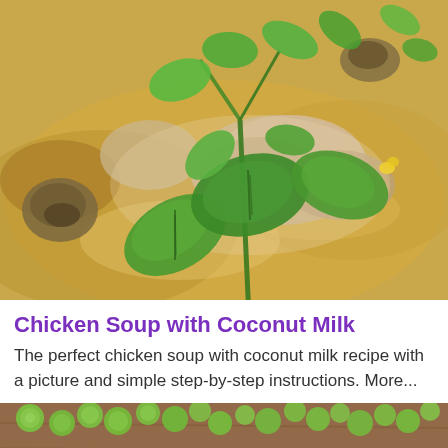[Figure (photo): Close-up photo of chicken soup with coconut milk, featuring pieces of chicken and mushrooms in a creamy golden broth, garnished with fresh green basil and cilantro leaves.]
Chicken Soup with Coconut Milk
The perfect chicken soup with coconut milk recipe with a picture and simple step-by-step instructions. More...
[Figure (photo): Close-up photo of green peas or similar round green vegetables on a wooden surface, partially visible at the bottom of the page.]